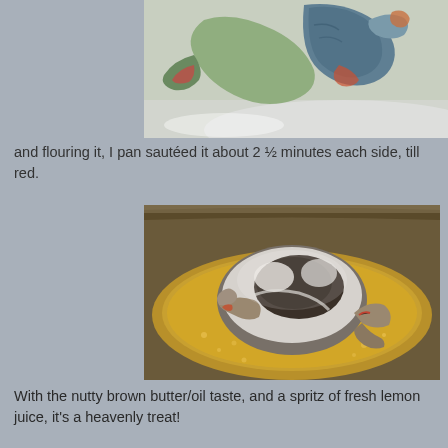[Figure (photo): Close-up photo of blue crab claws on a white surface, showing blue, green and brown coloration with red tips]
and flouring it, I pan sautéed it about 2 ½ minutes each side, till red.
[Figure (photo): Photo of a floured crab being pan sautéed in a pan with butter/oil, showing the crab coated in white flour in a golden brown cooking liquid]
With the nutty brown butter/oil taste, and a spritz of fresh lemon juice, it's a heavenly treat!